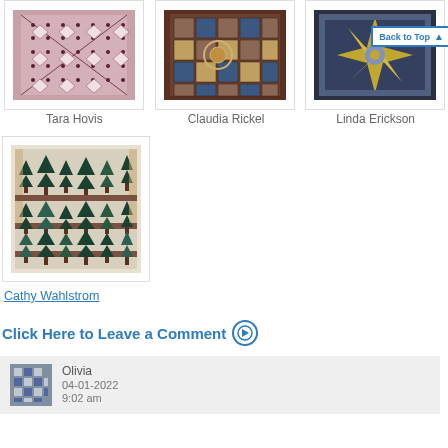[Figure (photo): Quilt image for Tara Hovis - pink and brown geometric pattern]
[Figure (photo): Quilt image for Claudia Rickel - dark multicolor medallion pattern]
[Figure (photo): Quilt image for Linda Erickson - dark starburst/compass pattern with Back to Top button overlay]
Tara Hovis
Claudia Rickel
Linda Erickson
[Figure (photo): Quilt image for Cathy Wahlstrom - forest/pine tree quilt pattern in greens and tans]
Cathy Wahlstrom
Click Here to Leave a Comment
Olivia
04-01-2022
9:02 am